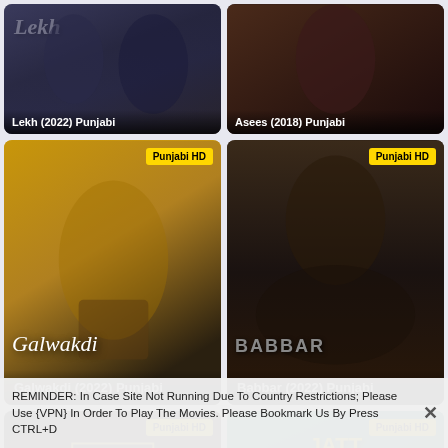[Figure (photo): Movie poster thumbnail for Lekh (2022) Punjabi film]
[Figure (photo): Movie poster thumbnail for Asees (2018) Punjabi film]
[Figure (photo): Movie poster for Galwakdi (2022) Punjabi film with Punjabi HD badge]
[Figure (photo): Movie poster for Babbar (2022) Punjabi film with Punjabi HD badge]
[Figure (photo): Movie poster thumbnail for Main Punjabi film with Punjabi HD badge]
[Figure (photo): Movie poster thumbnail for Jatt Brothers Punjabi film with Punjabi HD badge]
REMINDER: In Case Site Not Running Due To Country Restrictions; Please Use {VPN} In Order To Play The Movies. Please Bookmark Us By Press CTRL+D